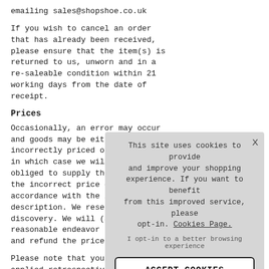emailing sales@shopshoe.co.uk
If you wish to cancel an order that has already been received, please ensure that the item(s) is returned to us, unworn and in a re-saleable condition within 21 working days from the date of receipt.
Prices
Occasionally, an error may occur and goods may be either incorrectly priced or described in which case we will not be obliged to supply the goods at the incorrect price or in accordance with the incorrect description. We reser... discovery. We will (at... reasonable endeavor... and refund the price y...
Please note that your... applied retrospectivel... reduced. It is the natu... current promotions ar... items that have been...
All payments are take... liable to VAT at the prevailing UK rate.
[Figure (screenshot): Cookie consent overlay with message 'This site uses cookies to provide and improve your shopping experience. If you want to benefit from this improved service, please opt-in. Cookies Page.' and an 'ACCEPT COOKIES' button.]